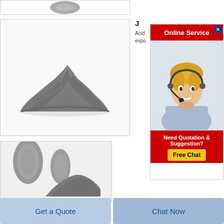[Figure (photo): Partial view of a circular grey object/ring at the top]
[Figure (photo): Grey powder heap / mound on white background]
J
Acid
expo
[Figure (infographic): Online Service advertisement with red header, female customer service representative with headset, and Free Chat button]
[Figure (photo): Grey powder with spoon/scoop on white background (partial)]
Get a Quote
Chat Now